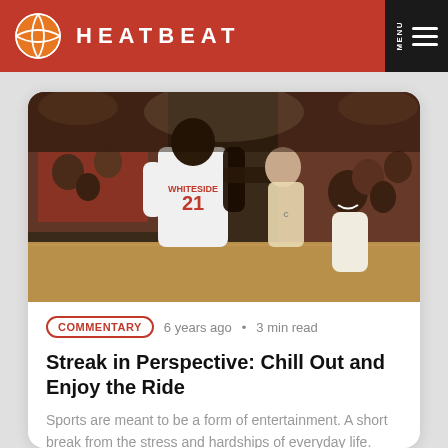HEATBEAT
[Figure (photo): Basketball players on court, player with jersey WHITESIDE #21 visible, teammates celebrating]
COMMENTARY   6 years ago  •  3 min read
Streak in Perspective: Chill Out and Enjoy the Ride
Sports are meant to be a form of entertainment. A short break from the stress and hardships of everyday life. Sometimes that is easy t...